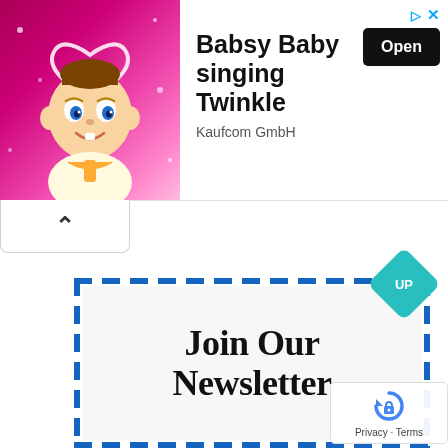[Figure (illustration): Animated baby cartoon character with halo heart, pink sparkly background - Babsy Baby app advertisement banner]
Babsy Baby singing Twinkle
Kaufcom GmbH
Open
[Figure (other): Collapse/caret up button (^) in a rounded rectangle bar]
[Figure (infographic): Newsletter signup box with diagonal red, white, and blue dashed border pattern and text 'Join Our Newsletter']
Join Our Newsletter
[Figure (other): Teal diamond-shaped UP badge/button]
Privacy · Terms